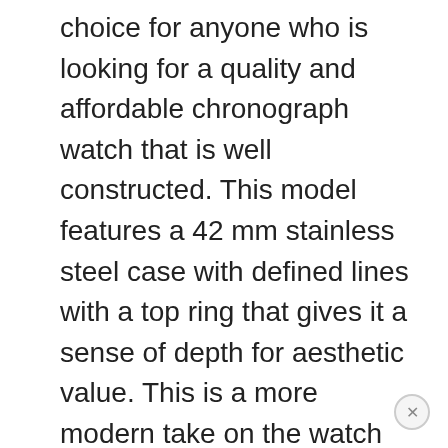choice for anyone who is looking for a quality and affordable chronograph watch that is well constructed. This model features a 42 mm stainless steel case with defined lines with a top ring that gives it a sense of depth for aesthetic value. This is a more modern take on the watch with a new case design that maintains its classic roots, yet moves the watch forward in its evolution. The movement powering the watch is an analog quartz type. The dial is set with Arabic indexes and an Indiglo back light to give it high visibility and